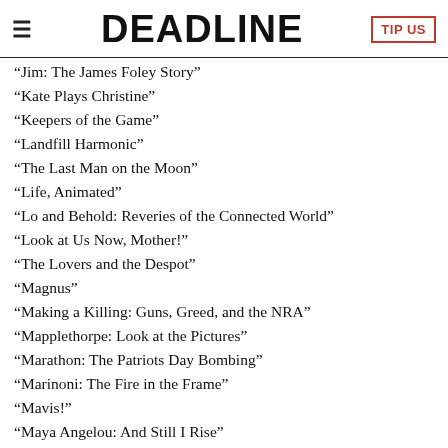DEADLINE
“Jim: The James Foley Story”
“Kate Plays Christine”
“Keepers of the Game”
“Landfill Harmonic”
“The Last Man on the Moon”
“Life, Animated”
“Lo and Behold: Reveries of the Connected World”
“Look at Us Now, Mother!”
“The Lovers and the Despot”
“Magnus”
“Making a Killing: Guns, Greed, and the NRA”
“Mapplethorpe: Look at the Pictures”
“Marathon: The Patriots Day Bombing”
“Marinoni: The Fire in the Frame”
“Mavis!”
“Maya Angelou: And Still I Rise”
“Mifune: The Last Samurai”